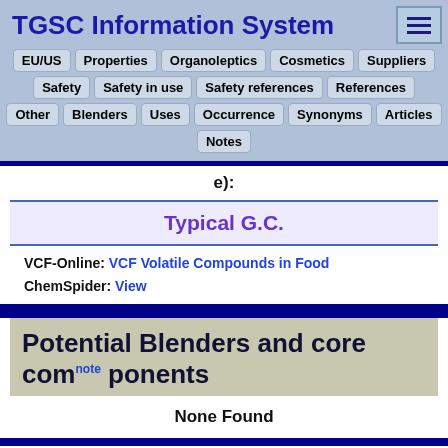TGSC Information System
EU/US | Properties | Organoleptics | Cosmetics | Suppliers | Safety | Safety in use | Safety references | References | Other | Blenders | Uses | Occurrence | Synonyms | Articles | Notes
e):
Typical G.C.
VCF-Online: VCF Volatile Compounds in Food
ChemSpider: View
Potential Blenders and core components
None Found